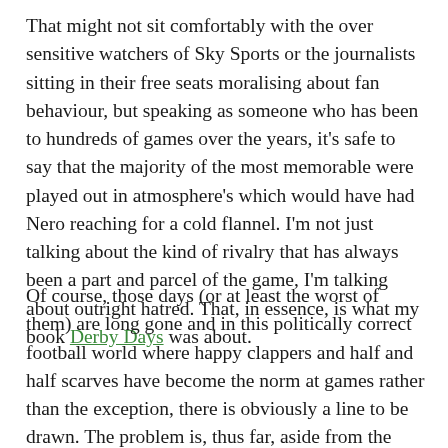That might not sit comfortably with the over sensitive watchers of Sky Sports or the journalists sitting in their free seats moralising about fan behaviour, but speaking as someone who has been to hundreds of games over the years, it's safe to say that the majority of the most memorable were played out in atmosphere's which would have had Nero reaching for a cold flannel. I'm not just talking about the kind of rivalry that has always been a part and parcel of the game, I'm talking about outright hatred. That, in essence, is what my book Derby Days was about.
Of course, those days (or at least the worst of them) are long gone and in this politically correct football world where happy clappers and half and half scarves have become the norm at games rather than the exception, there is obviously a line to be drawn. The problem is, thus far, aside from the issue of racism, no one has ever been able to decide where it sits. Why for example, is Hillsborough a chant too far when songs about